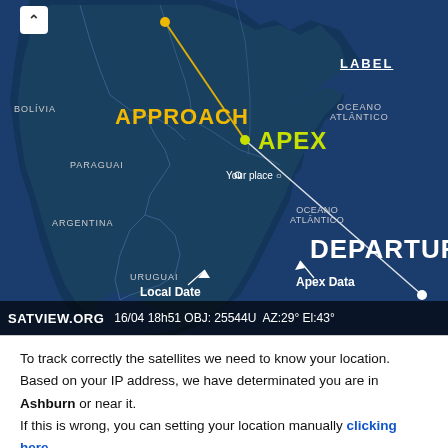[Figure (map): Satellite tracking map showing South America (Bolivia, Paraguay, Argentina, Uruguay) with Atlantic Ocean. Shows trajectory path with APPROACH label in yellow, APEX point in green/yellow, and DEPARTURE label in white. Arrows point to Local Date and Apex Data annotations. SATVIEW.ORG branding with tracking data: 16/04 18h51 OBJ: 25544U AZ:29° El:43°. LABEL text in upper right.]
To track correctly the satellites we need to know your location.
Based on your IP address, we have determinated you are in Ashburn or near it.
If this is wrong, you can setting your location manually clicking here